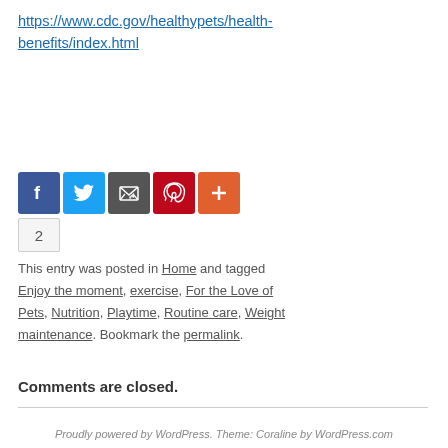https://www.cdc.gov/healthypets/health-benefits/index.html
[Figure (other): Social sharing buttons: Facebook (blue), Twitter (light blue), Email/envelope (dark gray), Pinterest (red), More/plus (orange-red)]
2
This entry was posted in Home and tagged Enjoy the moment, exercise, For the Love of Pets, Nutrition, Playtime, Routine care, Weight maintenance. Bookmark the permalink.
Comments are closed.
Proudly powered by WordPress. Theme: Coraline by WordPress.com